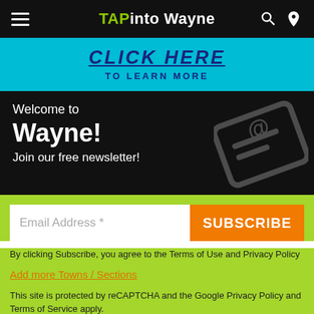TAPinto Wayne
[Figure (screenshot): Teal/cyan banner with text 'CLICK HERE TO LEARN MORE' in dark bold underlined letters]
Welcome to Wayne! Join our free newsletter!
Email Address *
SUBSCRIBE
By clicking Subscribe, you agree to the Terms of Use and Privacy Policy
Add more Towns / Sections
This site is protected by reCAPTCHA and the Google Privacy Policy and Terms of Service apply.
Maybe Later